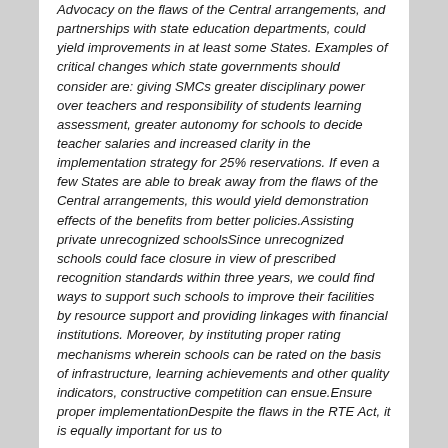Advocacy on the flaws of the Central arrangements, and partnerships with state education departments, could yield improvements in at least some States. Examples of critical changes which state governments should consider are: giving SMCs greater disciplinary power over teachers and responsibility of students learning assessment, greater autonomy for schools to decide teacher salaries and increased clarity in the implementation strategy for 25% reservations. If even a few States are able to break away from the flaws of the Central arrangements, this would yield demonstration effects of the benefits from better policies.Assisting private unrecognized schoolsSince unrecognized schools could face closure in view of prescribed recognition standards within three years, we could find ways to support such schools to improve their facilities by resource support and providing linkages with financial institutions. Moreover, by instituting proper rating mechanisms wherein schools can be rated on the basis of infrastructure, learning achievements and other quality indicators, constructive competition can ensue.Ensure proper implementationDespite the flaws in the RTE Act, it is equally important for us to